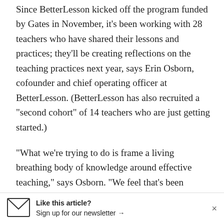Since BetterLesson kicked off the program funded by Gates in November, it's been working with 28 teachers who have shared their lessons and practices; they'll be creating reflections on the teaching practices next year, says Erin Osborn, cofounder and chief operating officer at BetterLesson. (BetterLesson has also recruited a "second cohort" of 14 teachers who are just getting started.)
"What we’re trying to do is frame a living breathing body of knowledge around effective teaching," says Osborn. "We feel that’s been missing. When they get feedback that they’re not doing a great job -- often they’re just told to read an article or go watch a video
Like this article? Sign up for our newsletter →